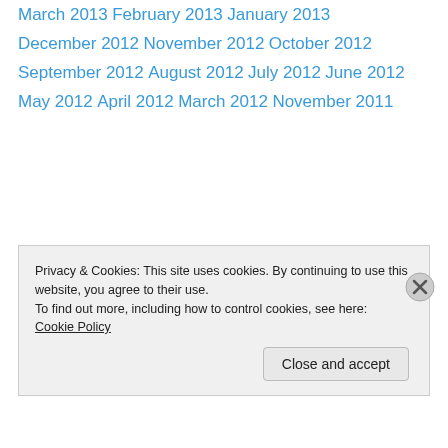March 2013
February 2013
January 2013
December 2012
November 2012
October 2012
September 2012
August 2012
July 2012
June 2012
May 2012
April 2012
March 2012
November 2011
Privacy & Cookies: This site uses cookies. By continuing to use this website, you agree to their use.
To find out more, including how to control cookies, see here: Cookie Policy
Close and accept